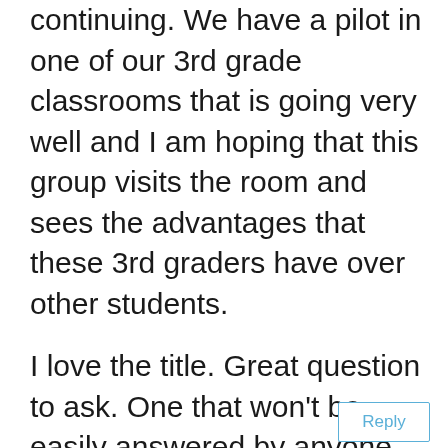continuing. We have a pilot in one of our 3rd grade classrooms that is going very well and I am hoping that this group visits the room and sees the advantages that these 3rd graders have over other students.

I love the title. Great question to ask. One that won't be easily answered by anyone that is looking out for kids first.
Reply